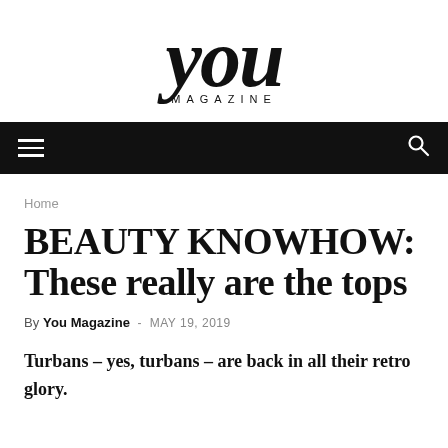[Figure (logo): YOU Magazine logo — large serif 'you' in black with 'MAGAZINE' in spaced caps beneath]
Navigation bar with hamburger menu and search icon
Home
BEAUTY KNOWHOW: These really are the tops
By You Magazine - MAY 19, 2019
Turbans – yes, turbans – are back in all their retro glory.